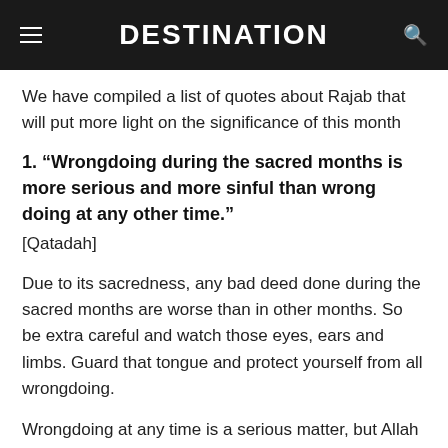DESTINATION
We have compiled a list of quotes about Rajab that will put more light on the significance of this month
1. “Wrongdoing during the sacred months is more serious and more sinful than wrong doing at any other time.” [Qatadah]
Due to its sacredness, any bad deed done during the sacred months are worse than in other months. So be extra careful and watch those eyes, ears and limbs. Guard that tongue and protect yourself from all wrongdoing.
Wrongdoing at any time is a serious matter, but Allah gives more weight to whichever of His commands He wants… (Tafseer Ibn Katheer)
Remember that if sin is great therein, then obedience is even